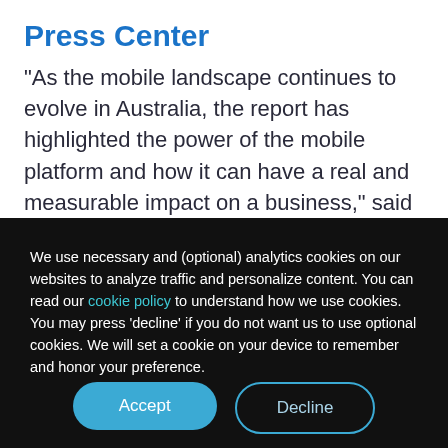Press Center
“As the mobile landscape continues to evolve in Australia, the report has highlighted the power of the mobile platform and how it can have a real and measurable impact on a business,” said Mr White. “Developing an understanding of the mobile
We use necessary and (optional) analytics cookies on our websites to analyze traffic and personalize content. You can read our cookie policy to understand how we use cookies. You may press ‘decline’ if you do not want us to use optional cookies. We will set a cookie on your device to remember and honor your preference.
Accept
Decline